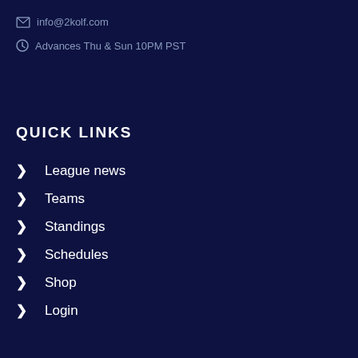info@2kolf.com
Advances Thu & Sun 10PM PST
QUICK LINKS
League news
Teams
Standings
Schedules
Shop
Login